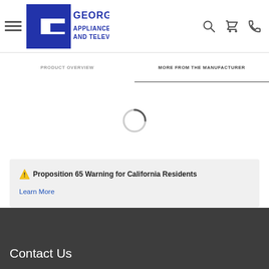George's Appliance and Television — navigation header with hamburger menu, logo, search, cart, and phone icons
PRODUCT OVERVIEW | MORE FROM THE MANUFACTURER
[Figure (other): Loading spinner circle]
⚠ Proposition 65 Warning for California Residents
Learn More
Contact Us